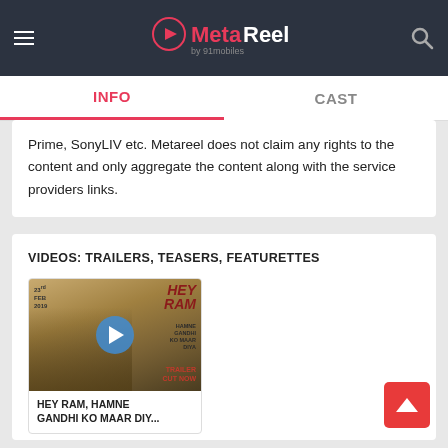MetaReel by 91mobiles — INFO | CAST navigation
Prime, SonyLIV etc. Metareel does not claim any rights to the content and only aggregate the content along with the service providers links.
VIDEOS: TRAILERS, TEASERS, FEATURETTES
[Figure (photo): Hey Ram movie trailer thumbnail with play button overlay, showing actors in period costume and text: 23rd FEB 2019, HEY RAM, HAMNE GANDHI KO MAAR DIYA, TRAILER CUT NOW]
HEY RAM, HAMNE GANDHI KO MAAR DIY...